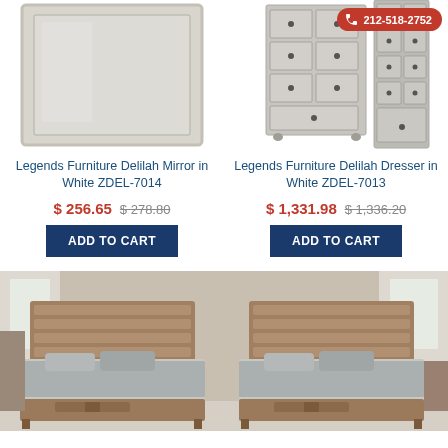[Figure (photo): Legends Furniture Delilah Mirror in White, white framed rectangular mirror]
[Figure (photo): Legends Furniture Delilah Dresser in White, tall white dresser with multiple drawers and phone badge overlay]
Legends Furniture Delilah Mirror in White ZDEL-7014
Legends Furniture Delilah Dresser in White ZDEL-7013
$ 256.65 $ 278.80
$ 1,331.98 $ 1,336.20
ADD TO CART
ADD TO CART
[Figure (photo): Brown wooden bed with horizontal slat headboard and storage footboard, styled with pillows and bedding]
[Figure (photo): Brown wooden bed with horizontal slat headboard and storage footboard, styled with pillows and bedding (second angle)]